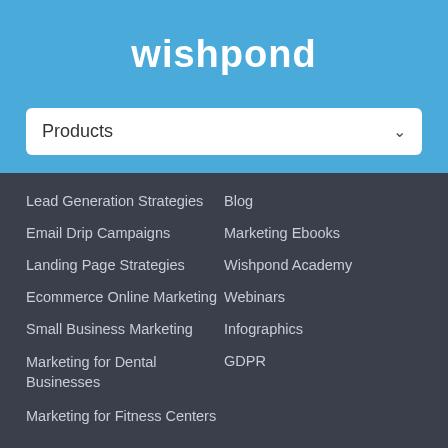wishpond
Products
Lead Generation Strategies
Email Drip Campaigns
Landing Page Strategies
Ecommerce Online Marketing
Small Business Marketing
Marketing for Dental Businesses
Marketing for Fitness Centers
Blog
Marketing Ebooks
Wishpond Academy
Webinars
Infographics
GDPR